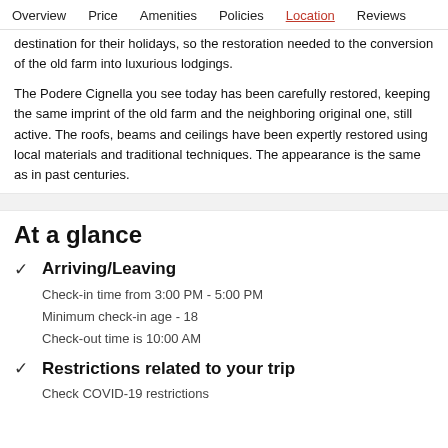Overview   Price   Amenities   Policies   Location   Reviews
destination for their holidays, so the restoration needed to the conversion of the old farm into luxurious lodgings.
The Podere Cignella you see today has been carefully restored, keeping the same imprint of the old farm and the neighboring original one, still active. The roofs, beams and ceilings have been expertly restored using local materials and traditional techniques. The appearance is the same as in past centuries.
At a glance
Arriving/Leaving
Check-in time from 3:00 PM - 5:00 PM
Minimum check-in age - 18
Check-out time is 10:00 AM
Restrictions related to your trip
Check COVID-19 restrictions